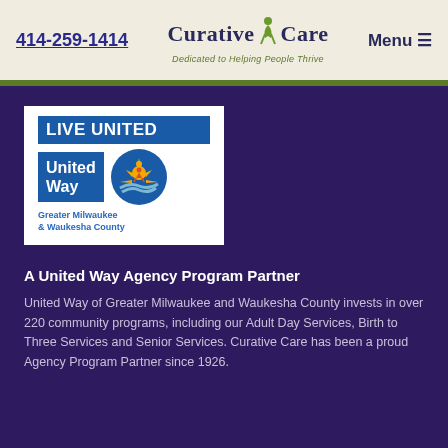414-259-1414   Curative Care – Dedicated to Helping People Thrive   Menu
[Figure (logo): United Way Greater Milwaukee & Waukesha County logo with LIVE UNITED banner and circular sunrise/hands emblem]
A United Way Agency Program Partner
United Way of Greater Milwaukee and Waukesha County invests in over 220 community programs, including our Adult Day Services, Birth to Three Services and Senior Services. Curative Care has been a proud Agency Program Partner since 1926.